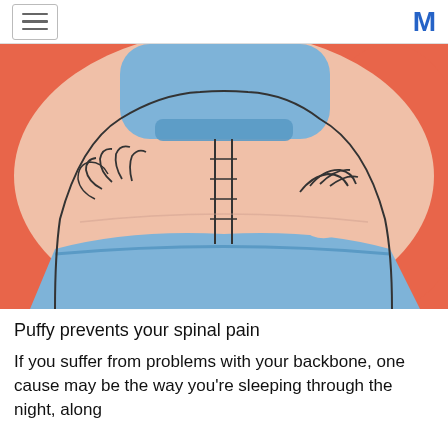[Figure (illustration): Illustration of a person's lower back with both hands pressing on the lower spine area, showing back pain. The figure wears a blue sports top and blue pants. Background is orange-red.]
Puffy prevents your spinal pain
If you suffer from problems with your backbone, one cause may be the way you're sleeping through the night, along